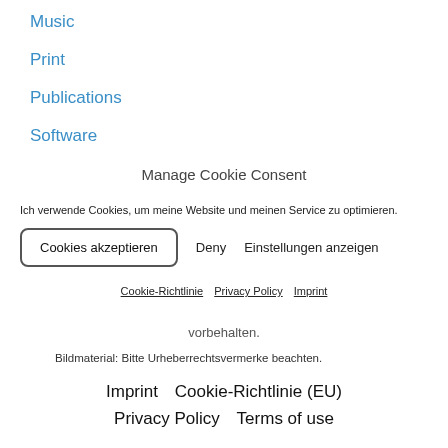Music
Print
Publications
Software
Manage Cookie Consent
Ich verwende Cookies, um meine Website und meinen Service zu optimieren.
Cookies akzeptieren  Deny  Einstellungen anzeigen
Cookie-Richtlinie  Privacy Policy  Imprint
vorbehalten.
Bildmaterial: Bitte Urheberrechtsvermerke beachten.
Imprint  Cookie-Richtlinie (EU)  Privacy Policy  Terms of use